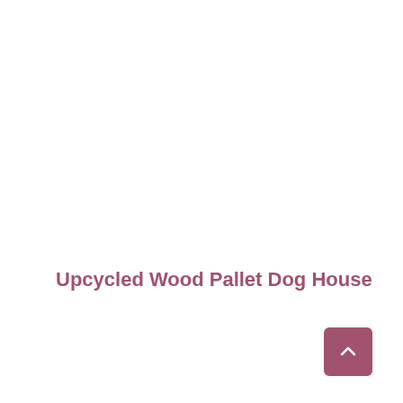Upcycled Wood Pallet Dog House
[Figure (other): Scroll-to-top button with upward chevron arrow, dark mauve/rose color, rounded corners]